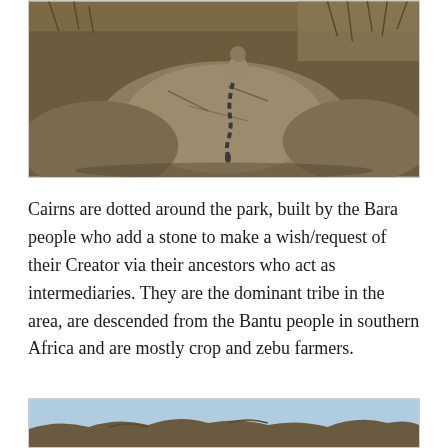[Figure (photo): A wild animal (likely a lemur with a striped tail) perched on large rocky boulders in a dry, rocky landscape with sparse vegetation in the background.]
Cairns are dotted around the park, built by the Bara people who add a stone to make a wish/request of their Creator via their ancestors who act as intermediaries. They are the dominant tribe in the area, are descended from the Bantu people in southern Africa and are mostly crop and zebu farmers.
[Figure (photo): Partial view of a landscape with rocky formations and a clear sky, bottom portion of a scenic outdoor photograph.]